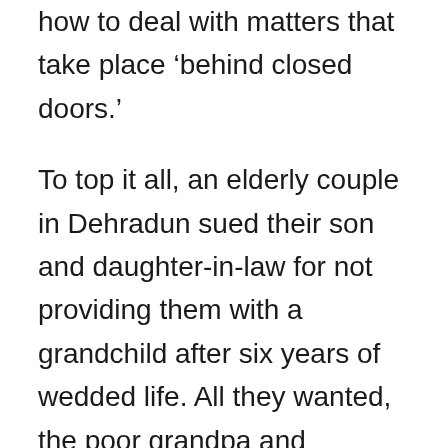how to deal with matters that take place 'behind closed doors.'
To top it all, an elderly couple in Dehradun sued their son and daughter-in-law for not providing them with a grandchild after six years of wedded life. All they wanted, the poor grandpa and grandma, was a little toddler to play pin the tail on the donkey or hide-and-seek with in their dotage. Is that too much to ask? Instead, they were willing to settle